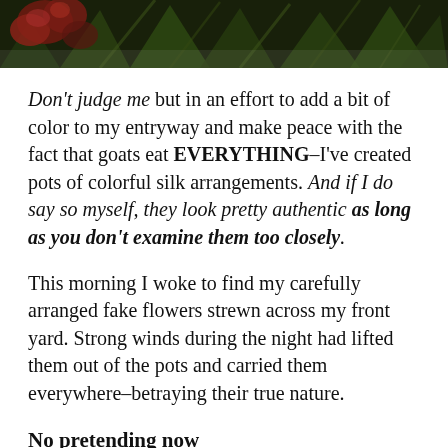[Figure (photo): A dark photograph showing red/maroon flowers (possibly orchids or similar) with green foliage in the background, cropped to a horizontal strip at the top of the page.]
Don't judge me but in an effort to add a bit of color to my entryway and make peace with the fact that goats eat EVERYTHING–I've created pots of colorful silk arrangements.  And if I do say so myself, they look pretty authentic as long as you don't examine them too closely.
This morning I woke to find my carefully arranged fake flowers strewn across my front yard.  Strong winds during the night had lifted them out of the pots and carried them everywhere–betraying their true nature.
No pretending now